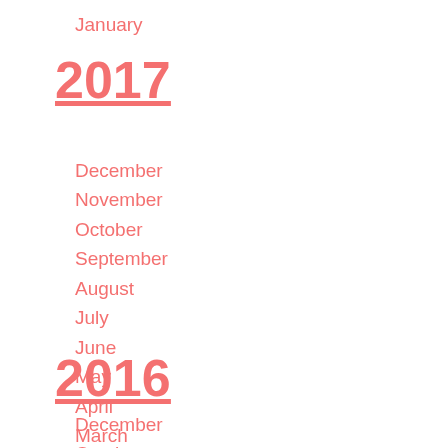January
2017
December
November
October
September
August
July
June
May
April
March
February
January
2016
December
October